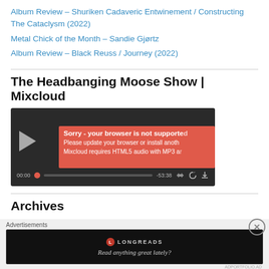Album Review – Shuriken Cadaveric Entwinement / Constructing The Cataclysm (2022)
Metal Chick of the Month – Sandie Gjørtz
Album Review – Black Reuss / Journey (2022)
The Headbanging Moose Show | Mixcloud
[Figure (screenshot): Mixcloud embedded audio player with dark background, play button on left, error overlay in red/salmon color saying 'Sorry - your browser is not supported', 'Please update your browser or install anoth...', 'Mixcloud requires HTML5 audio with MP3 a...', and a playback bar showing 00:00 and -53:38]
Archives
Advertisements
[Figure (screenshot): Longreads advertisement banner on dark background with logo and text 'Read anything great lately?']